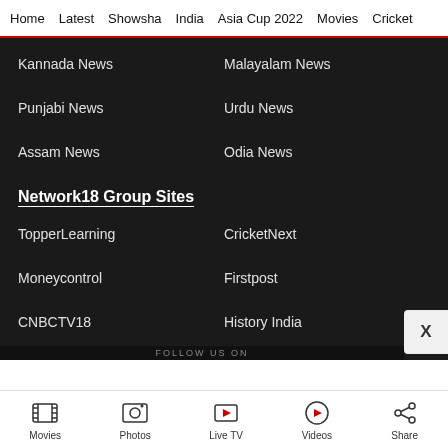Home  Latest  Showsha  India  Asia Cup 2022  Movies  Cricket
Kannada News
Malayalam News
Punjabi News
Urdu News
Assam News
Odia News
Network18 Group Sites
TopperLearning
CricketNext
Moneycontrol
Firstpost
CNBCTV18
History India
MTV India
Movies  Photos  Live TV  Videos  Share